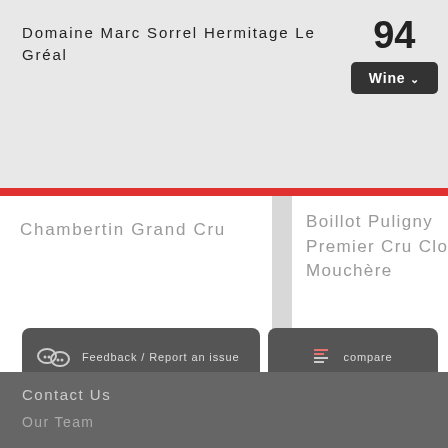Domaine Marc Sorrel Hermitage Le Gréal
94
Wine
Chambertin Grand Cru
Boillot Puligny Premier Cru Clo Mouchère
Feedback / Report an issue
compare
Contact Us
Our Team